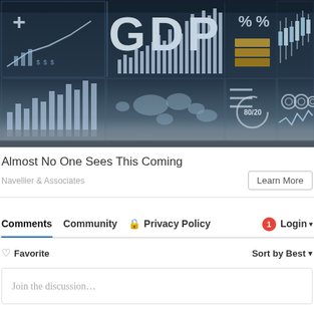[Figure (photo): Financial dashboard interface showing GDP text, bar charts, world map, percentage signs, gold bars, candlestick charts, 80/20 rule icon, and various financial data visualizations on a dark blue digital screen]
Almost No One Sees This Coming
Navellier & Associates
Learn More
Comments  Community  Privacy Policy  Login
Favorite  Sort by Best
Join the discussion…